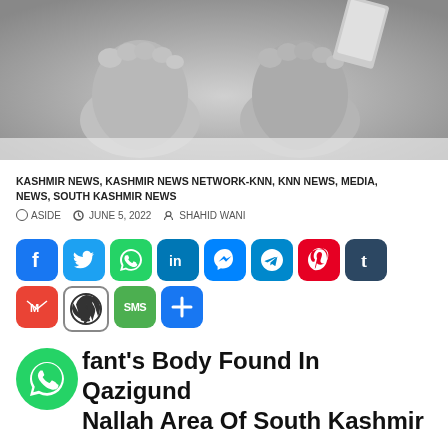[Figure (photo): Black and white close-up photo of human feet with a tag, suggesting a deceased person in a morgue setting]
KASHMIR NEWS, KASHMIR NEWS NETWORK-KNN, KNN NEWS, MEDIA, NEWS, SOUTH KASHMIR NEWS
ASIDE  JUNE 5, 2022  SHAHID WANI
[Figure (infographic): Social media share buttons: Facebook, Twitter, WhatsApp, LinkedIn, Messenger, Telegram, Pinterest, Tumblr, Gmail, WordPress, SMS, More]
Infant's Body Found In Qazigund Nallah Area Of South Kashmir